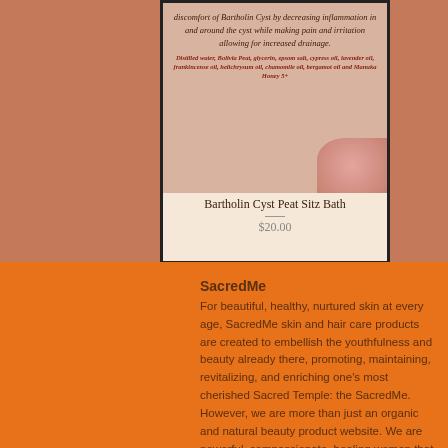[Figure (photo): Product card for Bartholin Cyst Peat Sitz Bath showing italic text description and ingredient list with floral decoration]
Bartholin Cyst Peat Sitz Bath
$20.00
SacredMe
For beautiful, healthy, nurtured skin at every age, SacredMe skin and hair care products are created to embellish the youthfulness and beauty already there, promoting, maintaining, revitalizing, and enriching one's most cherished Sacred Temple: the SacredMe. However, we are more than just an organic and natural beauty product website. We are powerful, compassionate, healing women that